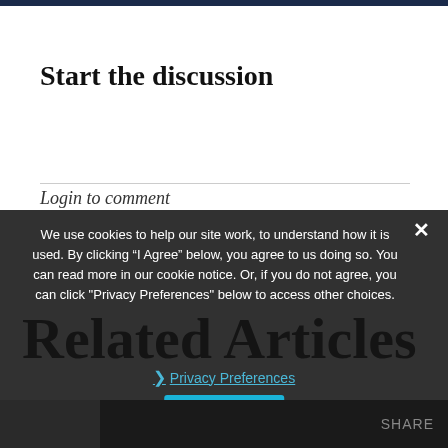Start the discussion
Login to comment
We use cookies to help our site work, to understand how it is used. By clicking “I Agree” below, you agree to us doing so. You can read more in our cookie notice. Or, if you do not agree, you can click "Privacy Preferences" below to access other choices.
❯ Privacy Preferences
I Agree
Related Articles
SHARE